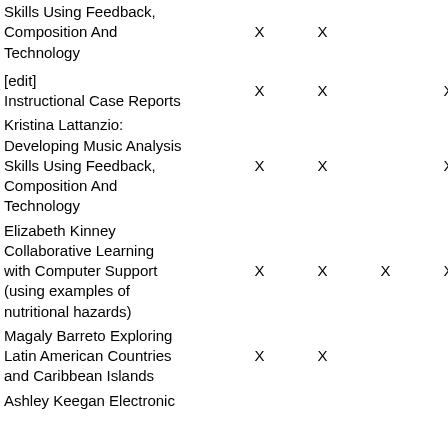| Article | Col1 | Col2 | Col3 | Col4 |
| --- | --- | --- | --- | --- |
| Skills Using Feedback, Composition And Technology | X | X |  |  |
| [edit] Instructional Case Reports |  |  |  |  |
| Kristina Lattanzio: Developing Music Analysis Skills Using Feedback, Composition And Technology | X | X |  | X |
| Elizabeth Kinney Collaborative Learning with Computer Support (using examples of nutritional hazards) | X | X | X | X |
| Magaly Barreto Exploring Latin American Countries and Caribbean Islands | X | X |  |  |
| Ashley Keegan Electronic |  |  |  |  |